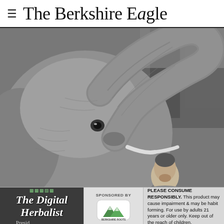≡  The Berkshire Eagle
[Figure (photo): Black and white close-up photograph of an elephant raising its trunk toward the sky while a man below looks up and feeds or interacts with the elephant's mouth. Trees are visible in the background.]
The Digital Herbalist  |  SPONSORED BY [Berkshire Roots logo]  |  PLEASE CONSUME RESPONSIBLY. This product may cause impairment & may be habit forming. For use by adults 21 years or older only. Keep out of the reach of children.